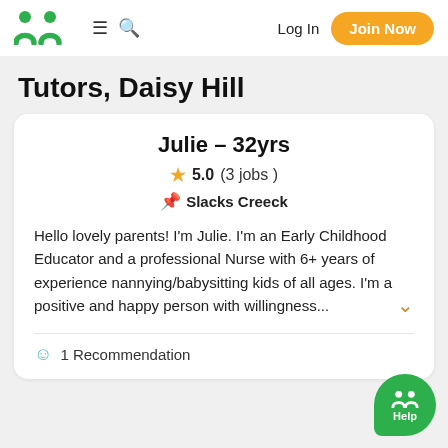Gumtree logo | menu | search | Log In | Join Now
Tutors, Daisy Hill
Julie - 32yrs
★ 5.0 (3 jobs )
Slacks Creeck
Hello lovely parents! I'm Julie. I'm an Early Childhood Educator and a professional Nurse with 6+ years of experience nannying/babysitting kids of all ages. I'm a positive and happy person with willingness...
1 Recommendation